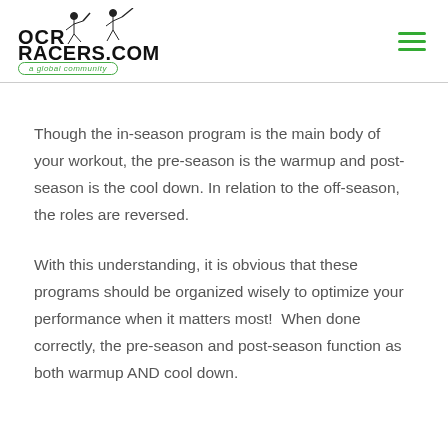OCRRACERS.COM a global community
Though the in-season program is the main body of your workout, the pre-season is the warmup and post-season is the cool down. In relation to the off-season, the roles are reversed.
With this understanding, it is obvious that these programs should be organized wisely to optimize your performance when it matters most!  When done correctly, the pre-season and post-season function as both warmup AND cool down.